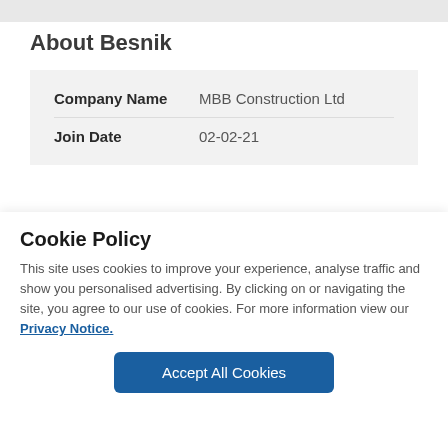About Besnik
| Field | Value |
| --- | --- |
| Company Name | MBB Construction Ltd |
| Join Date | 02-02-21 |
Cookie Policy
This site uses cookies to improve your experience, analyse traffic and show you personalised advertising. By clicking on or navigating the site, you agree to our use of cookies. For more information view our Privacy Notice.
Accept All Cookies